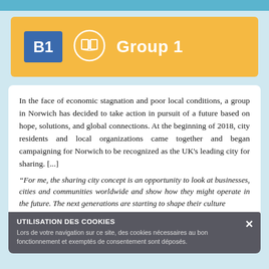B1  Group 1
In the face of economic stagnation and poor local conditions, a group in Norwich has decided to take action in pursuit of a future based on hope, solutions, and global connections. At the beginning of 2018, city residents and local organizations came together and began campaigning for Norwich to be recognized as the UK's leading city for sharing. [...]
"For me, the sharing city concept is an opportunity to look at businesses, cities and communities worldwide and show how they might operate in the future. The next generations are starting to shape their culture and...
UTILISATION DES COOKIES
Lors de votre navigation sur ce site, des cookies nécessaires au bon fonctionnement et exemptés de consentement sont déposés.